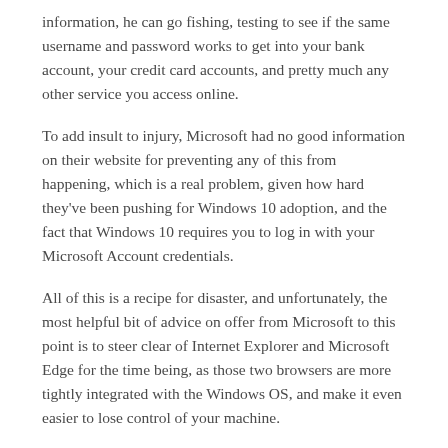information, he can go fishing, testing to see if the same username and password works to get into your bank account, your credit card accounts, and pretty much any other service you access online.
To add insult to injury, Microsoft had no good information on their website for preventing any of this from happening, which is a real problem, given how hard they've been pushing for Windows 10 adoption, and the fact that Windows 10 requires you to log in with your Microsoft Account credentials.
All of this is a recipe for disaster, and unfortunately, the most helpful bit of advice on offer from Microsoft to this point is to steer clear of Internet Explorer and Microsoft Edge for the time being, as those two browsers are more tightly integrated with the Windows OS, and make it even easier to lose control of your machine.